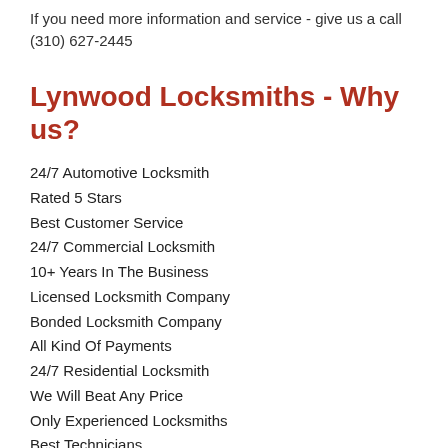If you need more information and service - give us a call (310) 627-2445
Lynwood Locksmiths - Why us?
24/7 Automotive Locksmith
Rated 5 Stars
Best Customer Service
24/7 Commercial Locksmith
10+ Years In The Business
Licensed Locksmith Company
Bonded Locksmith Company
All Kind Of Payments
24/7 Residential Locksmith
We Will Beat Any Price
Only Experienced Locksmiths
Best Technicians
Special Promotions Every Month
15 Minute ETA